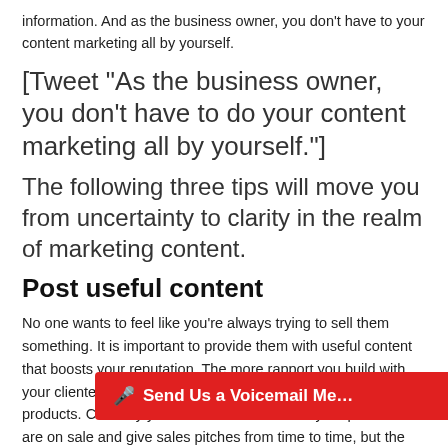information. And as the business owner, you don't have to your content marketing all by yourself.
[Tweet “As the business owner, you don’t have to do your content marketing all by yourself.”]
The following three tips will move you from uncertainty to clarity in the realm of marketing content.
Post useful content
No one wants to feel like you’re always trying to sell them something. It is important to provide them with useful content that boosts your reputation. The more rapport you build with your clientele, the more likely they are to purchase your products. Certainly you should mention when your products are on sale and give sales pitches from time to time, but the main focus in posting c… with your subscribers.
🎤 Send Us a Voicemail Me…